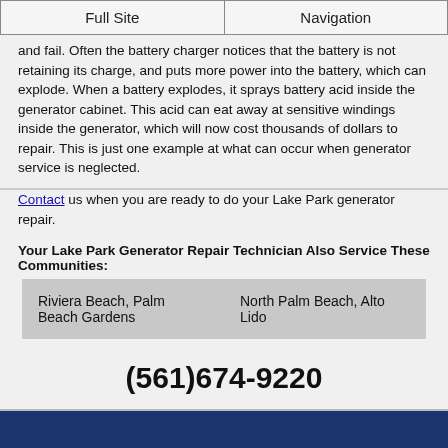Full Site | Navigation
and fail. Often the battery charger notices that the battery is not retaining its charge, and puts more power into the battery, which can explode. When a battery explodes, it sprays battery acid inside the generator cabinet. This acid can eat away at sensitive windings inside the generator, which will now cost thousands of dollars to repair. This is just one example at what can occur when generator service is neglected.
Contact us when you are ready to do your Lake Park generator repair.
Your Lake Park Generator Repair Technician Also Service These Communities:
| Riviera Beach, Palm Beach Gardens | North Palm Beach, Alto Lido |
(561)674-9220
By Rafael Cata  All rights reserved. Copyright © 2012-2022
https:\www.rcs-electricalservices.com